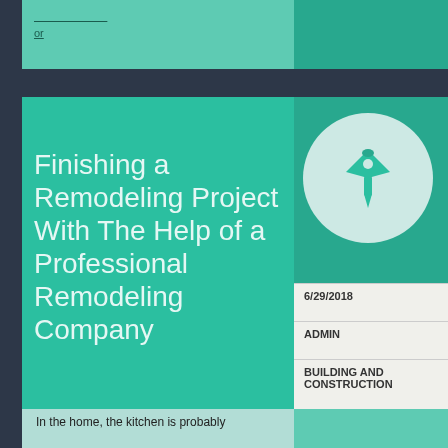or
Finishing a Remodeling Project With The Help of a Professional Remodeling Company
[Figure (illustration): A pushpin / thumbtack icon in teal color centered in a light mint-green circle]
6/29/2018
ADMIN
BUILDING AND CONSTRUCTION
In the home, the kitchen is probably